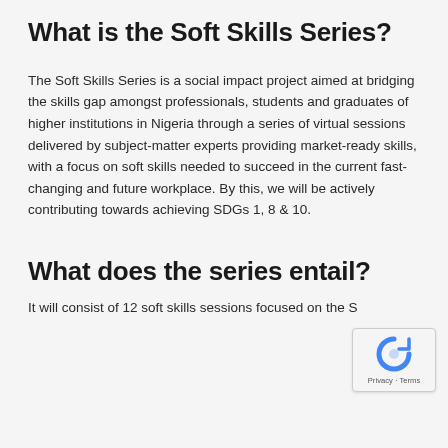What is the Soft Skills Series?
The Soft Skills Series is a social impact project aimed at bridging the skills gap amongst professionals, students and graduates of higher institutions in Nigeria through a series of virtual sessions delivered by subject-matter experts providing market-ready skills, with a focus on soft skills needed to succeed in the current fast-changing and future workplace. By this, we will be actively contributing towards achieving SDGs 1, 8 & 10.
What does the series entail?
It will consist of 12 soft skills sessions focused on…